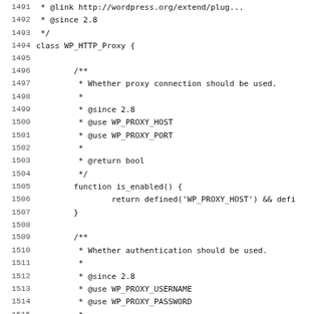Code listing lines 1491-1523 showing PHP class WP_HTTP_Proxy with is_enabled() and use_authentication() methods